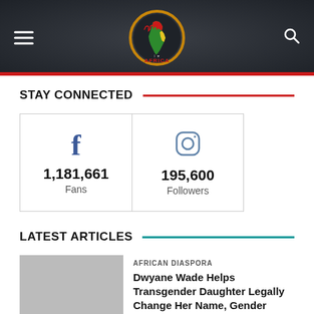[Figure (logo): I Love Africa logo — circular orange/gold border with Africa continent shape in green/red/yellow on dark background, text AFRICA below]
STAY CONNECTED
| 1,181,661 Fans | 195,600 Followers |
LATEST ARTICLES
AFRICAN DIASPORA
Dwyane Wade Helps Transgender Daughter Legally Change Her Name, Gender